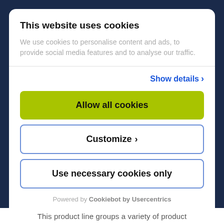This website uses cookies
We use cookies to personalise content and ads, to provide social media features and to analyse our traffic.
Show details ›
Allow all cookies
Customize ›
Use necessary cookies only
Powered by Cookiebot by Usercentrics
This product line groups a variety of product